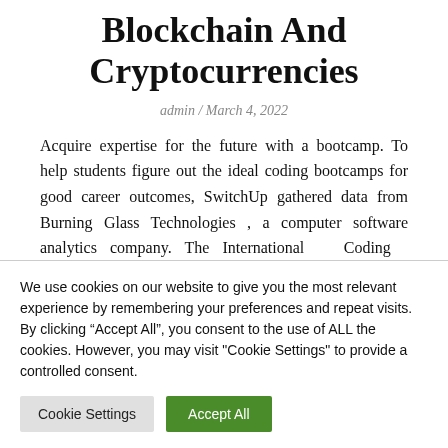Blockchain And Cryptocurrencies
admin / March 4, 2022
Acquire expertise for the future with a bootcamp. To help students figure out the ideal coding bootcamps for good career outcomes, SwitchUp gathered data from Burning Glass Technologies , a computer software analytics company. The International Coding Bootcamp market is
We use cookies on our website to give you the most relevant experience by remembering your preferences and repeat visits. By clicking “Accept All”, you consent to the use of ALL the cookies. However, you may visit "Cookie Settings" to provide a controlled consent.